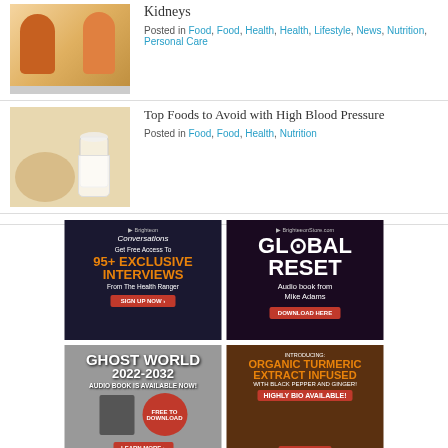[Figure (photo): Two people with drinks, kidney health article thumbnail]
Kidneys
Posted in Food, Food, Health, Health, Lifestyle, News, Nutrition, Personal Care
[Figure (photo): Glass of milk and food, high blood pressure article thumbnail]
Top Foods to Avoid with High Blood Pressure
Posted in Food, Food, Health, Nutrition
[Figure (infographic): Brighteon Conversations - Get Free Access To 95+ EXCLUSIVE INTERVIEWS From The Health Ranger - SIGN UP NOW]
[Figure (infographic): BrighteeonStore.com GLOBAL RESET Audio book from Mike Adams - DOWNLOAD HERE]
[Figure (infographic): GHOST WORLD 2022-2032 AUDIO BOOK IS AVAILABLE NOW! FREE TO DOWNLOAD - LEARN MORE]
[Figure (infographic): INTRODUCING: ORGANIC TURMERIC EXTRACT INFUSED WITH BLACK PEPPER AND GINGER! HIGHLY BIO AVAILABLE! - SHOP NOW]
[Figure (infographic): Are you consuming enough COLLAGEN PEPTIDES?]
[Figure (infographic): Brighteon Conversations logo ad]